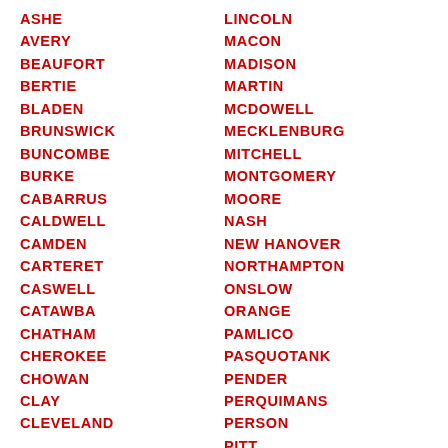ASHE
AVERY
BEAUFORT
BERTIE
BLADEN
BRUNSWICK
BUNCOMBE
BURKE
CABARRUS
CALDWELL
CAMDEN
CARTERET
CASWELL
CATAWBA
CHATHAM
CHEROKEE
CHOWAN
CLAY
CLEVELAND
LINCOLN
MACON
MADISON
MARTIN
MCDOWELL
MECKLENBURG
MITCHELL
MONTGOMERY
MOORE
NASH
NEW HANOVER
NORTHAMPTON
ONSLOW
ORANGE
PAMLICO
PASQUOTANK
PENDER
PERQUIMANS
PERSON
PITT